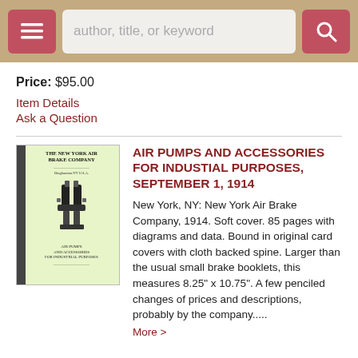author, title, or keyword [search bar with menu and search buttons]
Price: $95.00
Item Details
Ask a Question
[Figure (photo): Photo of a green soft-cover book titled 'The New York Air Brake Company - Air Pumps and Accessories for Industrial Purposes' with an illustration of an air pump on the cover, black cloth spine visible on left side]
AIR PUMPS AND ACCESSORIES FOR INDUSTIAL PURPOSES, SEPTEMBER 1, 1914
New York, NY: New York Air Brake Company, 1914. Soft cover. 85 pages with diagrams and data. Bound in original card covers with cloth backed spine. Larger than the usual small brake booklets, this measures 8.25" x 10.75". A few penciled changes of prices and descriptions, probably by the company.....
More >